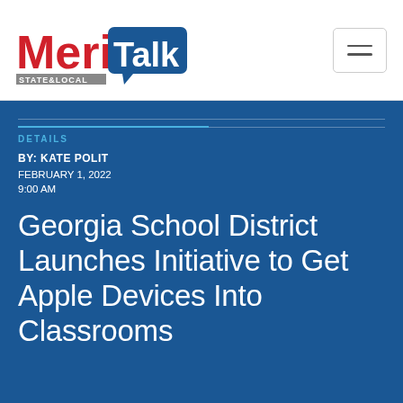[Figure (logo): MeriTalk State & Local logo — red 'Meri' text and 'Talk' in white on dark blue speech bubble, with 'STATE&LOCAL' text in gray below]
MeriTalk STATE&LOCAL
DETAILS
BY: KATE POLIT
FEBRUARY 1, 2022
9:00 AM
Georgia School District Launches Initiative to Get Apple Devices Into Classrooms